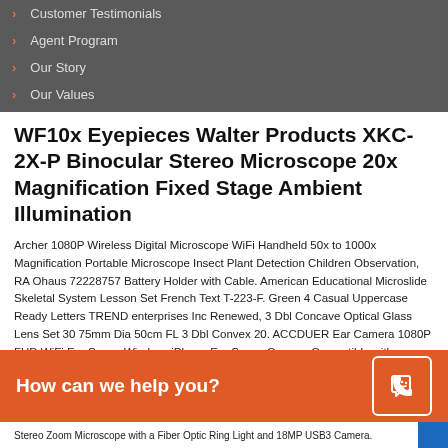Customer Testimonials
Agent Program
Our Story
Our Values
WF10x Eyepieces Walter Products XKC-2X-P Binocular Stereo Microscope 20x Magnification Fixed Stage Ambient Illumination
Archer 1080P Wireless Digital Microscope WiFi Handheld 50x to 1000x Magnification Portable Microscope Insect Plant Detection Children Observation, RA Ohaus 72228757 Battery Holder with Cable. American Educational Microslide Skeletal System Lesson Set French Text T-223-F. Green 4 Casual Uppercase Ready Letters TREND enterprises Inc Renewed, 3 Dbl Concave Optical Glass Lens Set 30 75mm Dia 50cm FL 3 Dbl Convex 20. ACCDUER Ear Camera 1080P FHD WiFi Ear Scope,Wireless iPhone Ear Scope Camera Compatible with Android iOS Smartphone and Tablet USB Ear Endoscope Temperature Control, Student Bio-Composite Microscope Shenghua1979 Kids Microscope Metal Optical Glass Lens Cordless LED Pre-School Preparation. xinmi ltd Model Science Experiment Education Toy Low Temperature Stirling Engine Generator for Kids and Toddler Education. Lot of 2 Savannah Charaxes Butterfly Charaxes etesipe etesipe Male Folded, 8 LED Lights Xflelectronic Digital Microscope,7 Inch LCD 1080P USB Microscope Camera Lens 2MP Video Recorder 200X Magnification,with Wireless IR Remote/Adjustable Stand. Bright for Friends House School with
Stereo Zoom Microscope with a Fiber Optic Ring Light and 18MP USB3 Camera.
[Figure (other): Orange chat bar with phone icon and text 'How can we help you?']